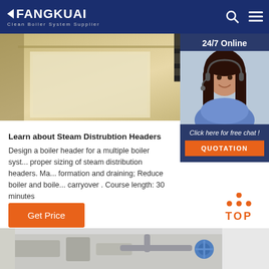FANGKUAI Clean Boiler System Supplier
[Figure (photo): Industrial boiler equipment photo with dark overhead components, tan/gold background]
[Figure (photo): 24/7 Online customer service representative with headset, smiling, with 'Click here for free chat!' and QUOTATION button]
Learn about Steam Distrubtion Headers Design a boiler header for a multiple boiler syst... proper sizing of steam distribution headers. Ma... formation and draining; Reduce boiler and boile... carryover . Course length: 30 minutes
Get Price
[Figure (other): TOP button with orange dots above text]
[Figure (photo): Bottom photo of industrial boiler/piping equipment]